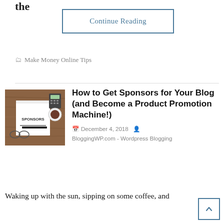the
Continue Reading
Make Money Online Tips
[Figure (photo): Flat lay photo of a notepad with 'SPONSORS' written on it, a pen, glasses, calculator, coffee cup, and tablet on a wooden desk]
How to Get Sponsors for Your Blog (and Become a Product Promotion Machine!)
December 4, 2018   BloggingWP.com - Wordpress Blogging
Waking up with the sun, sipping on some coffee, and